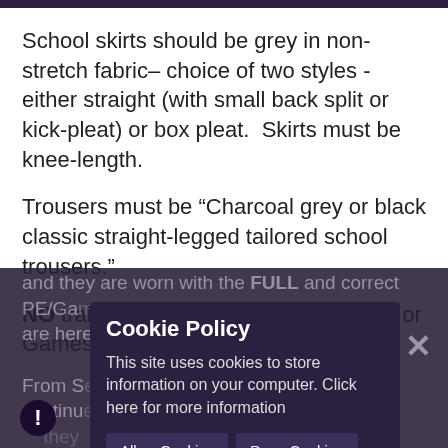School skirts should be grey in non-stretch fabric– choice of two styles - either straight (with small back split or kick-pleat) or box pleat.  Skirts must be knee-length.
Trousers must be “Charcoal grey or black classic straight-legged tailored school trousers.”
NO trainers in school, unless it is a PE or Games day,
and they are worn with the FULL and correct PE/Ga... wearing the correct PE... are here F... From S... to 9 continue to wear... days they have P... they... than term. Nike etc.
Cookie Policy
This site uses cookies to store information on your computer. Click here for more information